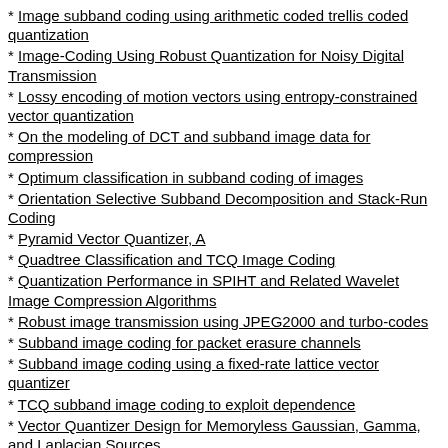* Image subband coding using arithmetic coded trellis coded quantization
* Image-Coding Using Robust Quantization for Noisy Digital Transmission
* Lossy encoding of motion vectors using entropy-constrained vector quantization
* On the modeling of DCT and subband image data for compression
* Optimum classification in subband coding of images
* Orientation Selective Subband Decomposition and Stack-Run Coding
* Pyramid Vector Quantizer, A
* Quadtree Classification and TCQ Image Coding
* Quantization Performance in SPIHT and Related Wavelet Image Compression Algorithms
* Robust image transmission using JPEG2000 and turbo-codes
* Subband image coding for packet erasure channels
* Subband image coding using a fixed-rate lattice vector quantizer
* TCQ subband image coding to exploit dependence
* Vector Quantizer Design for Memoryless Gaussian, Gamma, and Laplacian Sources
* Video coding over packet-erasure channels
Includes: Fischer, T.R. Fischer, T.R.[Thomas R.]